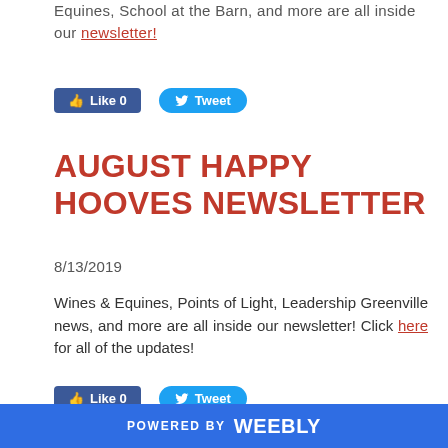Equines, School at the Barn, and more are all inside our newsletter!
[Figure (other): Facebook Like button (Like 0) and Twitter Tweet button]
AUGUST HAPPY HOOVES NEWSLETTER
8/13/2019
Wines & Equines, Points of Light, Leadership Greenville news, and more are all inside our newsletter! Click here for all of the updates!
[Figure (other): Facebook Like button (Like 0) and Twitter Tweet button]
POWERED BY weebly